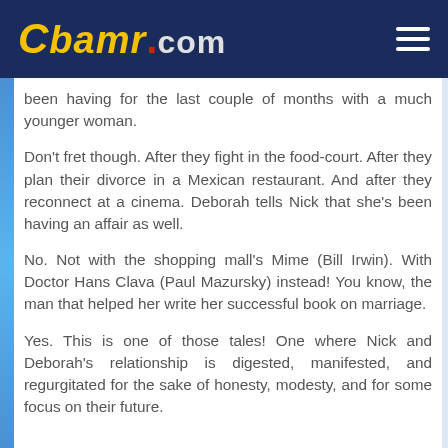CBAMR.COM
been having for the last couple of months with a much younger woman.
Don't fret though. After they fight in the food-court. After they plan their divorce in a Mexican restaurant. And after they reconnect at a cinema. Deborah tells Nick that she's been having an affair as well.
No. Not with the shopping mall's Mime (Bill Irwin). With Doctor Hans Clava (Paul Mazursky) instead! You know, the man that helped her write her successful book on marriage.
Yes. This is one of those tales! One where Nick and Deborah's relationship is digested, manifested, and regurgitated for the sake of honesty, modesty, and for some focus on their future.